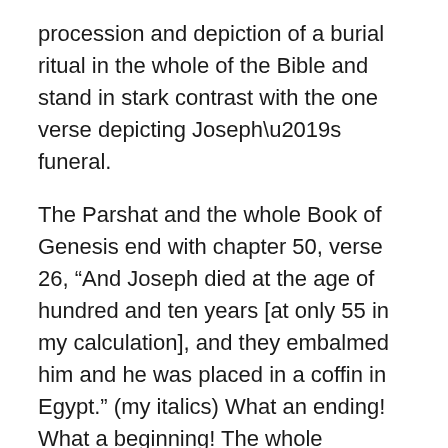procession and depiction of a burial ritual in the whole of the Bible and stand in stark contrast with the one verse depicting Joseph’s funeral.
The Parshat and the whole Book of Genesis end with chapter 50, verse 26, “And Joseph died at the age of hundred and ten years [at only 55 in my calculation], and they embalmed him and he was placed in a coffin in Egypt.” (my italics) What an ending! What a beginning! The whole foundation story of the Israelites and their creation as a nation ends with the first diaspora Jew being buried, not according to Jewish custom, but in accordance with Egyptian practice.
Jewish tradition, as I understand it, prohibits embalming. If you embalm someone, you drain out that person’s blood and replace it with embalming fluid. That means that